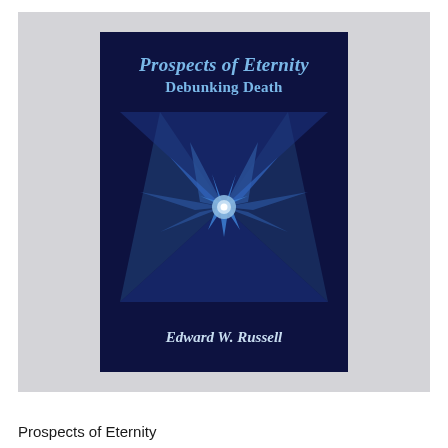[Figure (photo): Book cover of 'Prospects of Eternity: Debunking Death' by Edward W. Russell. Dark navy blue cover with a geometric star/spiral design in shades of blue with a bright white center point. Title text appears in italic blue serif font at the top, subtitle below it, and author name in italic serif at the bottom.]
Prospects of Eternity